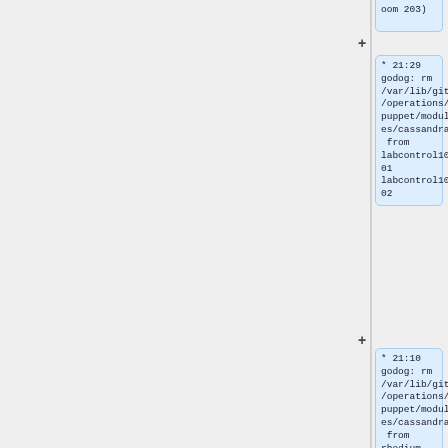oom 203)
* 21:29 godog: rm /var/lib/git/operations/puppet/modules/cassandra from labcontrol1001 labcontrol1002
* 21:10 godog: rm /var/lib/git/operations/puppet/modules/cassandra from rhodium